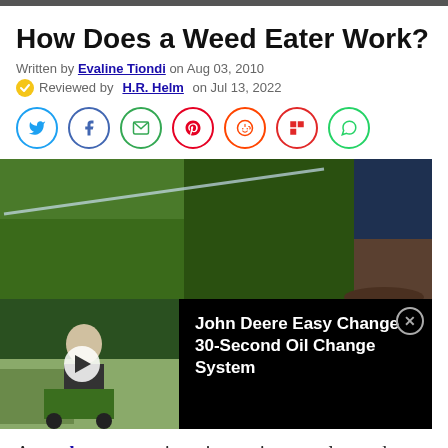How Does a Weed Eater Work?
Written by Evaline Tiondi on Aug 03, 2010
Reviewed by H.R. Helm on Jul 13, 2022
[Figure (screenshot): Social media share icons: Twitter, Facebook, Email, Pinterest, Reddit, Flipboard, WhatsApp]
[Figure (photo): Hero photo showing a weed eater string trimmer in use on grass, with person's feet visible. Below is a video ad overlay for John Deere Easy Change 30-Second Oil Change System with a play button and close button.]
A weed eater or string trimmer is a popular garden care tool. This hand-held tool can be used